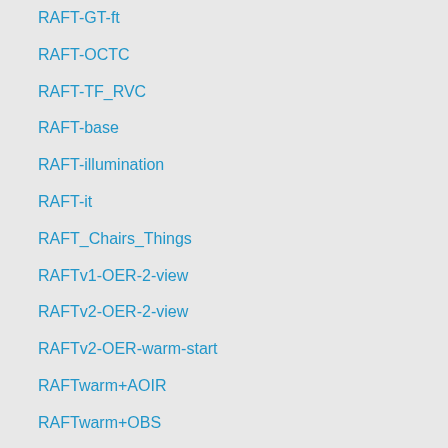RAFT-GT-ft
RAFT-OCTC
RAFT-TF_RVC
RAFT-base
RAFT-illumination
RAFT-it
RAFT_Chairs_Things
RAFTv1-OER-2-view
RAFTv2-OER-2-view
RAFTv2-OER-warm-start
RAFTwarm+AOIR
RAFTwarm+OBS
RC-LSTM-1dir
RC-LSTM-4dir
RFPM
RGBFlow
RICBCDN
RLOF_DENSE
ROF-NND